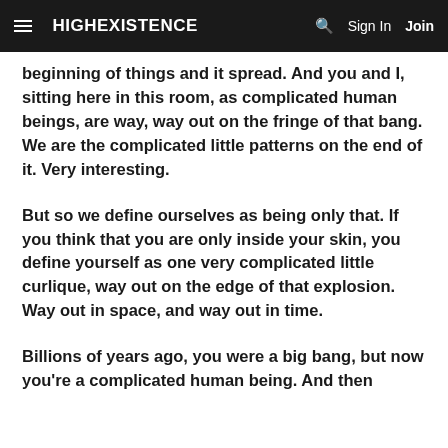≡ HIGHEXISTENCE  🔍  Sign In  Join
beginning of things and it spread. And you and I, sitting here in this room, as complicated human beings, are way, way out on the fringe of that bang. We are the complicated little patterns on the end of it. Very interesting.
But so we define ourselves as being only that. If you think that you are only inside your skin, you define yourself as one very complicated little curlique, way out on the edge of that explosion. Way out in space, and way out in time.
Billions of years ago, you were a big bang, but now you're a complicated human being. And then